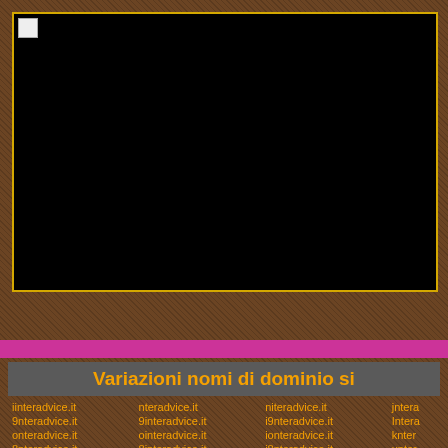[Figure (other): Black rectangle with a broken image icon in the top-left corner, bordered by a gold/yellow outline, set within a brown textured panel background.]
Variazioni nomi di dominio si
| iinteradvice.it | nteradvice.it | niteradvice.it | jntera |
| 9nteradvice.it | 9interadvice.it | i9nteradvice.it | Intera |
| onteradvice.it | ointeradvice.it | ionteradvice.it | knter |
| 8nteradvice.it | 8interadvice.it | i8nteradvice.it | unter |
| innteradvice.it | iteradvice.it | itneradvice.it | imter |
| ihteradvice.it | ihnteradvice.it | inlteradvice.it |  |